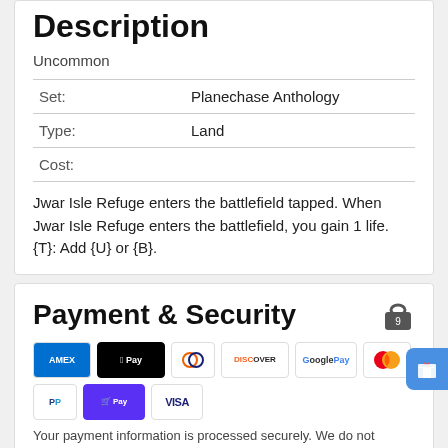Description
Uncommon
| Set: | Planechase Anthology |
| Type: | Land |
| Cost: |  |
Jwar Isle Refuge enters the battlefield tapped. When Jwar Isle Refuge enters the battlefield, you gain 1 life. {T}: Add {U} or {B}.
Payment & Security
[Figure (logo): Payment method icons: AMEX, Apple Pay, Diners Club, Discover, Google Pay, Mastercard, PayPal, Shop Pay, Visa]
Your payment information is processed securely. We do not